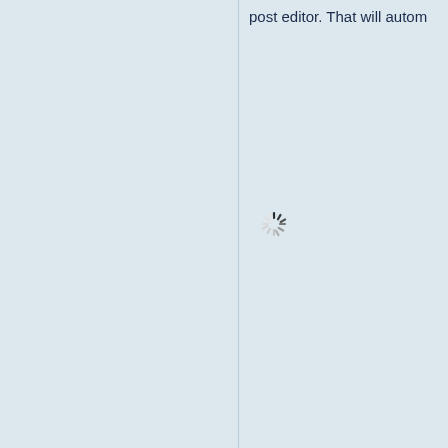post editor. That will autom
[Figure (other): Loading spinner (animated wheel with radiating spokes, partially dark and partially light gray)]